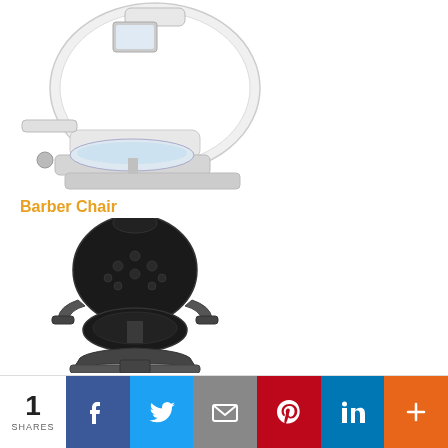[Figure (photo): White modern pedicure spa chair with oval backrest and foot basin]
Barber Chair
[Figure (photo): Classic black tufted barber chair with ornate metallic frame and armrests]
1 SHARES | Facebook | Twitter | Email | Pinterest | LinkedIn | More